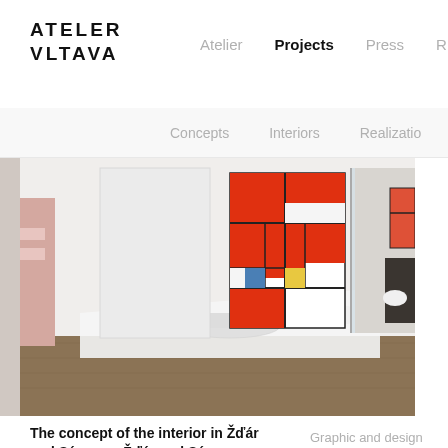ATELER VLTAVA — Atelier | Projects | Press | R
Concepts   Interiors   Realizatio
[Figure (photo): Interior design render of a modern white bathroom/living space with a Mondrian-style red, black and white artwork on the wall, white countertop/desk, dark wood floor, and glass partition.]
The concept of the interior in Žďár nad Sázavou. Žďár nad Sázavou.
Graphic and design